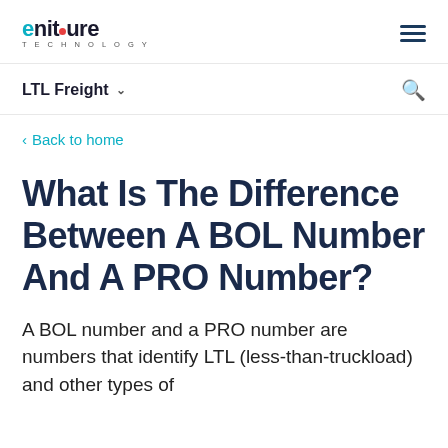eniture TECHNOLOGY
LTL Freight
< Back to home
What Is The Difference Between A BOL Number And A PRO Number?
A BOL number and a PRO number are numbers that identify LTL (less-than-truckload) and other types of